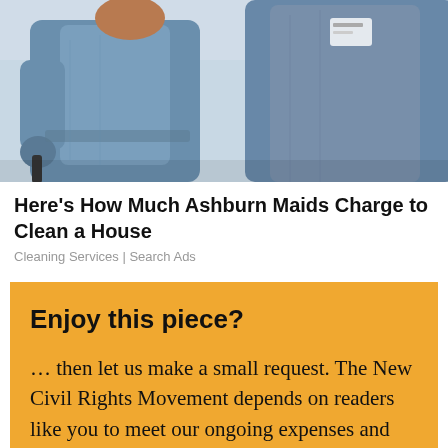[Figure (photo): Two people wearing blue scrubs, cropped at torso/waist level, suggesting cleaning or healthcare workers]
Here's How Much Ashburn Maids Charge to Clean a House
Cleaning Services | Search Ads
Enjoy this piece?
... then let us make a small request. The New Civil Rights Movement depends on readers like you to meet our ongoing expenses and continue producing quality progressive journalism. Three Silicon Valley giants consume 70 percent of all online advertising dollars, so we depend on